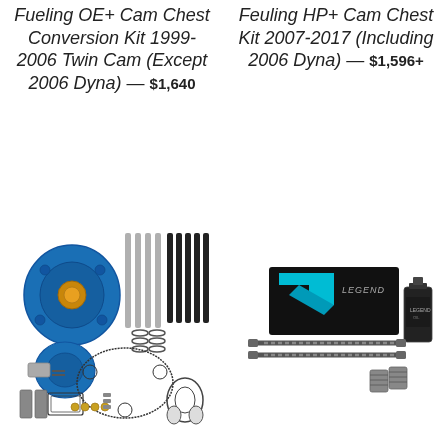Fueling OE+ Cam Chest Conversion Kit 1999-2006 Twin Cam (Except 2006 Dyna) — $1,640
Feuling HP+ Cam Chest Kit 2007-2017 (Including 2006 Dyna) — $1,596+
[Figure (photo): Fueling OE+ Cam Chest Conversion Kit product photo showing blue cam chest plate, pushrods, gaskets, hardware and camshaft components laid out]
[Figure (photo): Legend suspension kit product photo showing fork tubes, springs, Legend branded packaging box with turquoise logo, and oil bottle]